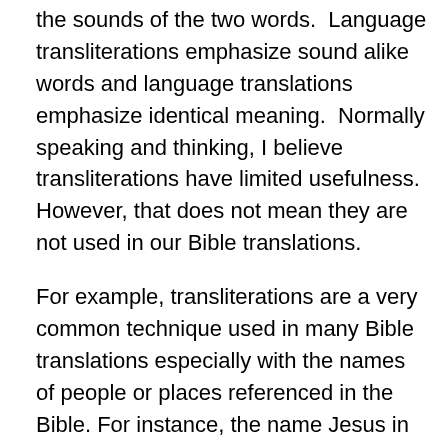the sounds of the two words.  Language transliterations emphasize sound alike words and language translations emphasize identical meaning.  Normally speaking and thinking, I believe transliterations have limited usefulness.  However, that does not mean they are not used in our Bible translations.
For example, transliterations are a very common technique used in many Bible translations especially with the names of people or places referenced in the Bible.  For instance, the name Jesus in the N.T. is a Greek to English transliteration originating from the name “Iesous” in the Greek language which was also transliterated from the original Hebrew name Jeshohua (Joshua).    I just gave you an example of two transliterations that occurred from three different languages to get us to the name